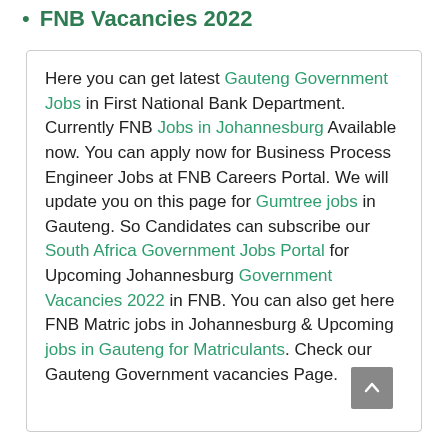FNB Vacancies 2022
Here you can get latest Gauteng Government Jobs in First National Bank Department. Currently FNB Jobs in Johannesburg Available now. You can apply now for Business Process Engineer Jobs at FNB Careers Portal. We will update you on this page for Gumtree jobs in Gauteng. So Candidates can subscribe our South Africa Government Jobs Portal for Upcoming Johannesburg Government Vacancies 2022 in FNB. You can also get here FNB Matric jobs in Johannesburg & Upcoming jobs in Gauteng for Matriculants. Check our Gauteng Government vacancies Page.